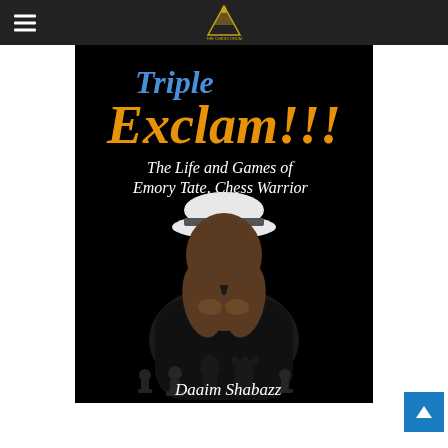Navigation bar with hamburger menu and The Chess Drum logo
[Figure (illustration): Book cover for 'Triple Exclam!!! The Life and Games of Emory Tate, Chess Warrior' by Daaim Shabazz. Dark/black background with title text in blue and orange, subtitle in white italic, author name in white italic at bottom. Center shows a man (Emory Tate) in contemplative pose wearing a white hat, with chess pieces silhouetted at bottom.]